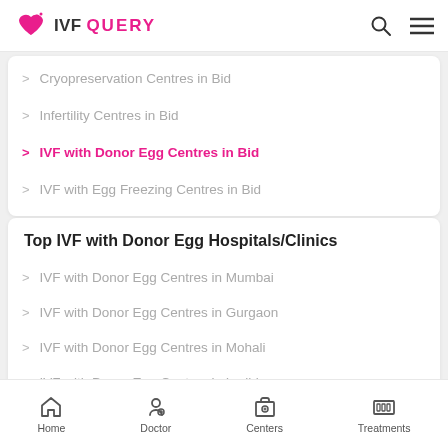IVF QUERY
Cryopreservation Centres in Bid
Infertility Centres in Bid
IVF with Donor Egg Centres in Bid
IVF with Egg Freezing Centres in Bid
Top IVF with Donor Egg Hospitals/Clinics
IVF with Donor Egg Centres in Mumbai
IVF with Donor Egg Centres in Gurgaon
IVF with Donor Egg Centres in Mohali
IVF with Donor Egg Centres in Ludhiana
IVF with Donor Egg Centres in Amritsar
Home  Doctor  Centers  Treatments